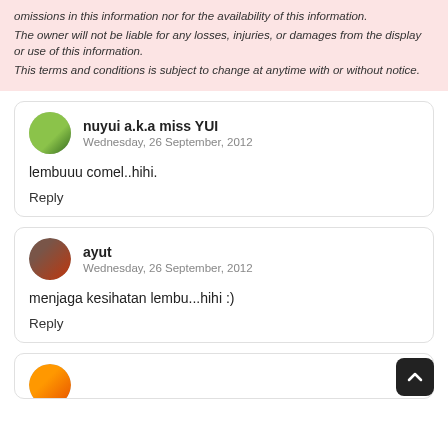The owner will not be liable for any losses, injuries, or damages from the display or use of this information. This terms and conditions is subject to change at anytime with or without notice.
nuyui a.k.a miss YUI
Wednesday, 26 September, 2012
lembuuu comel..hihi.
Reply
ayut
Wednesday, 26 September, 2012
menjaga kesihatan lembu...hihi :)
Reply